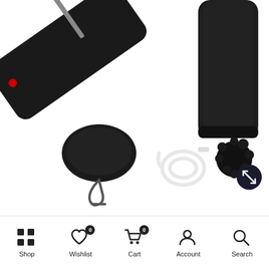[Figure (photo): Product photo of a wireless microphone kit showing: top-left a black microphone transmitter with red LED indicator and clip, top-right a black cylindrical receiver/case, center-bottom a black carrying case with carabiner clip, a coiled white USB charging cable, and a black furry windscreen/muff accessory. All items are arranged on a white background.]
Shop | Wishlist 0 | Cart 0 | Account | Search